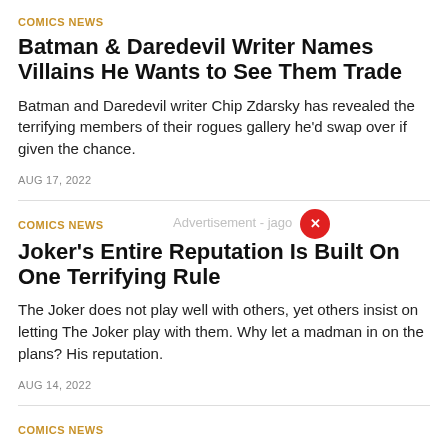COMICS NEWS
Batman & Daredevil Writer Names Villains He Wants to See Them Trade
Batman and Daredevil writer Chip Zdarsky has revealed the terrifying members of their rogues gallery he'd swap over if given the chance.
AUG 17, 2022
COMICS NEWS
Joker's Entire Reputation Is Built On One Terrifying Rule
The Joker does not play well with others, yet others insist on letting The Joker play with them. Why let a madman in on the plans? His reputation.
AUG 14, 2022
COMICS NEWS